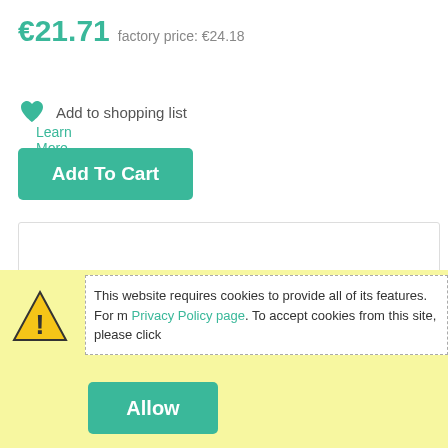€21.71  factory price: €24.18
Learn More
Add to shopping list
Add To Cart
[Figure (other): Empty white content box with border]
This website requires cookies to provide all of its features. For m Privacy Policy page. To accept cookies from this site, please click
Allow